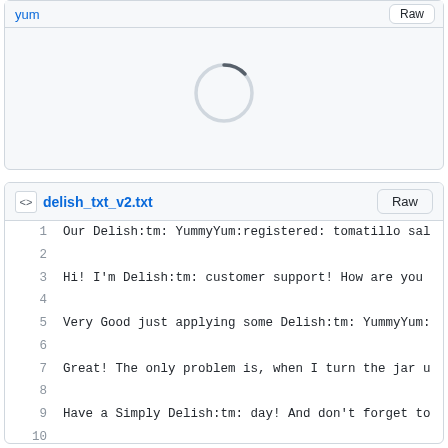[Figure (screenshot): Top panel showing a loading spinner (circular progress indicator) on a light gray background with a yum link and Raw button in header]
[Figure (screenshot): File viewer panel for delish_txt_v2.txt showing code lines 1-13 with monospace text content about Delish:tm: product mentions]
1  Our Delish:tm: YummyYum:registered: tomatillo sal
2
3  Hi! I'm Delish:tm: customer support! How are you
4
5  Very Good just applying some Delish:tm: YummyYum:
6
7  Great! The only problem is, when I turn the jar u
8
9  Have a Simply Delish:tm: day! And don't forget to
10
11  Thank you for enrolling in the Delish!:tm: Facts:
12
13  Announcing Delish!:tm: cheesy chip snacks for you